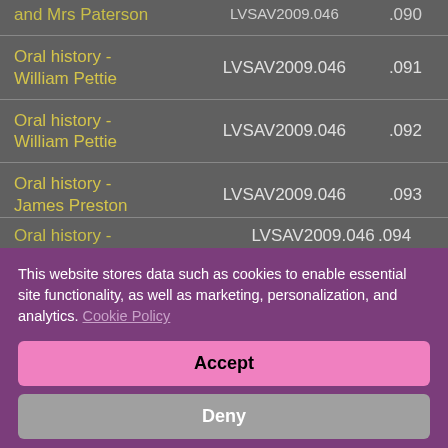| Item | Reference | Number |
| --- | --- | --- |
| Oral history - Mr and Mrs Paterson | LVSAV2009.046 | .090 |
| Oral history - William Pettie | LVSAV2009.046 | .091 |
| Oral history - William Pettie | LVSAV2009.046 | .092 |
| Oral history - James Preston | LVSAV2009.046 | .093 |
| Oral history - | LVSAV2009.046 | .094 |
This website stores data such as cookies to enable essential site functionality, as well as marketing, personalization, and analytics. Cookie Policy
Accept
Deny